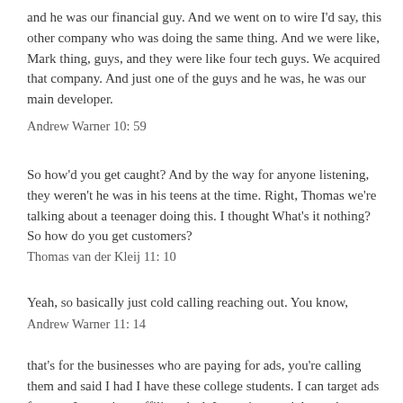and he was our financial guy. And we went on to wire I'd say, this other company who was doing the same thing. And we were like, Mark thing, guys, and they were like four tech guys. We acquired that company. And just one of the guys and he was, he was our main developer.
Andrew Warner 10: 59
So how'd you get caught? And by the way for anyone listening, they weren't he was in his teens at the time. Right, Thomas we're talking about a teenager doing this. I thought What's it nothing? So how do you get customers?
Thomas van der Kleij 11: 10
Yeah, so basically just cold calling reaching out. You know,
Andrew Warner 11: 14
that's for the businesses who are paying for ads, you're calling them and said I had I have these college students. I can target ads for you. It wasn't an affiliate deal. It was just straight up they pay you per print.